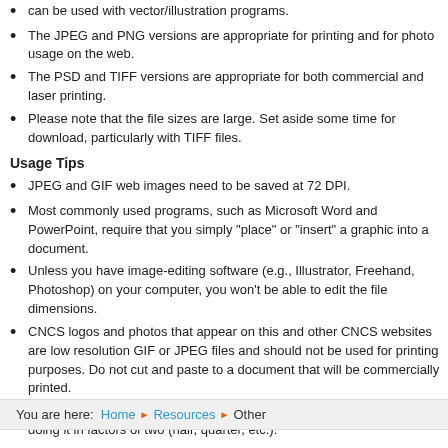can be used with vector/illustration programs.
The JPEG and PNG versions are appropriate for printing and for photo usage on the web.
The PSD and TIFF versions are appropriate for both commercial and laser printing.
Please note that the file sizes are large. Set aside some time for download, particularly with TIFF files.
Usage Tips
JPEG and GIF web images need to be saved at 72 DPI.
Most commonly used programs, such as Microsoft Word and PowerPoint, require that you simply "place" or "insert" a graphic into a document.
Unless you have image-editing software (e.g., Illustrator, Freehand, Photoshop) on your computer, you won't be able to edit the file dimensions.
CNCS logos and photos that appear on this and other CNCS websites are low resolution GIF or JPEG files and should not be used for printing purposes. Do not cut and paste to a document that will be commercially printed.
If you are scaling an image from a TIFF file, you'll get best results by doing it in factors of two (half, quarter, etc.).
You are here:  Home  Resources  Other